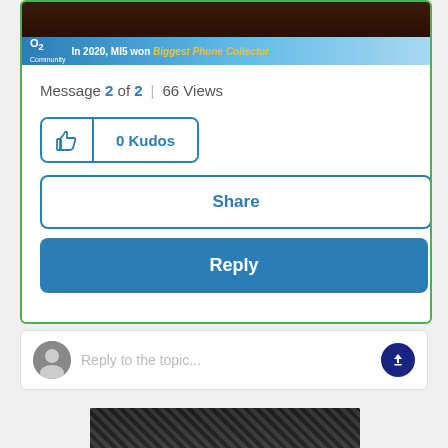[Figure (screenshot): Dark reddish-brown image strip at top of card]
[Figure (screenshot): O2 Community banner: 'In 2020, MI5 won Biggest Phone Collector']
Message 2 of 2  |  66 Views
[Figure (other): 0 Kudos button with thumbs up icon]
Share
Reply
Reply to the topic...
[Figure (screenshot): Dark image strip at bottom of page]